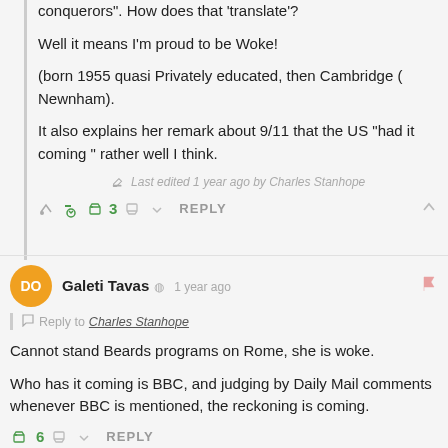conquerors". How does that 'translate'?
Well it means I'm proud to be Woke!
(born 1955 quasi Privately educated, then Cambridge ( Newnham).
It also explains her remark about 9/11 that the US "had it coming " rather well I think.
Last edited 1 year ago by Charles Stanhope
3  REPLY
Galeti Tavas  1 year ago
Reply to Charles Stanhope
Cannot stand Beards programs on Rome, she is woke.
Who has it coming is BBC, and judging by Daily Mail comments whenever BBC is mentioned, the reckoning is coming.
6  REPLY